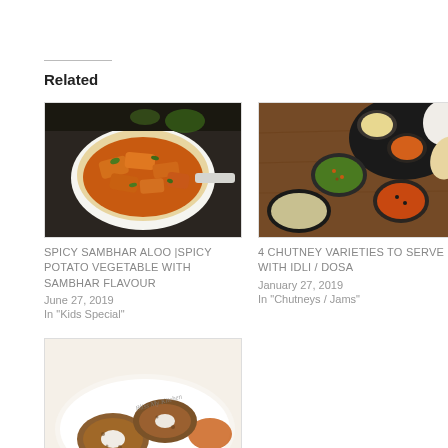Related
[Figure (photo): Spicy sambhar aloo dish in a white pan with orange-colored potato vegetables]
SPICY SAMBHAR ALOO |SPICY POTATO VEGETABLE WITH SAMBHAR FLAVOUR
June 27, 2019
In "Kids Special"
[Figure (photo): 4 chutney varieties in small bowls on a wooden surface with dosa/idli]
4 CHUTNEY VARIETIES TO SERVE WITH IDLI / DOSA
January 27, 2019
In "Chutneys / Jams"
[Figure (photo): Medu vada donuts on a white plate with dipping sauce]
MEDU VADA